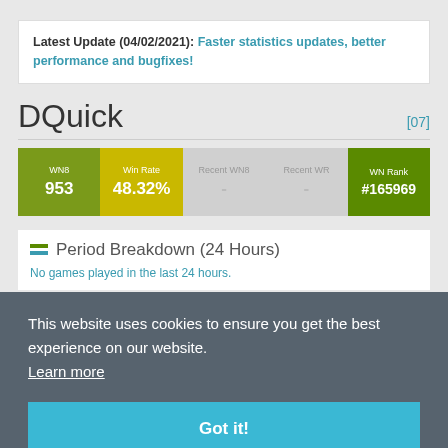Latest Update (04/02/2021): Faster statistics updates, better performance and bugfixes!
DQuick [07]
| WN8 | Win Rate | Recent WN8 | Recent WR | WN Rank |
| --- | --- | --- | --- | --- |
| 953 | 48.32% | - | - | #165969 |
This website uses cookies to ensure you get the best experience on our website. Learn more
Period Breakdown (24 Hours)
No games played in the last 24 hours.
Got it!